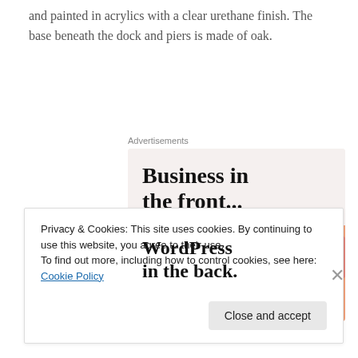and painted in acrylics with a clear urethane finish. The base beneath the dock and piers is made of oak.
[Figure (other): Advertisement banner: top section with text 'Business in the front...' on light pink background; bottom section with text 'WordPress in the back.' on orange/pink gradient background with circular blobs]
Privacy & Cookies: This site uses cookies. By continuing to use this website, you agree to their use.
To find out more, including how to control cookies, see here: Cookie Policy